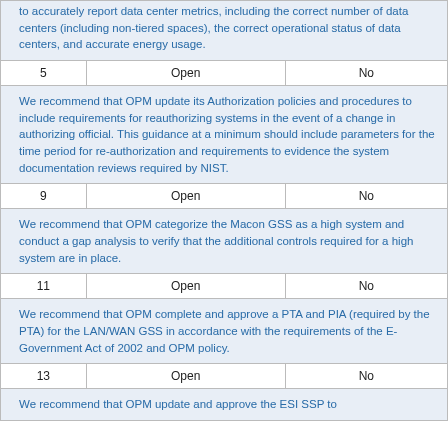| # | Status | Agreed |
| --- | --- | --- |
| (cont.) |  |  |
| 5 | Open | No |
| We recommend that OPM update its Authorization policies and procedures to include requirements for reauthorizing systems in the event of a change in authorizing official. This guidance at a minimum should include parameters for the time period for re-authorization and requirements to evidence the system documentation reviews required by NIST. |  |  |
| 9 | Open | No |
| We recommend that OPM categorize the Macon GSS as a high system and conduct a gap analysis to verify that the additional controls required for a high system are in place. |  |  |
| 11 | Open | No |
| We recommend that OPM complete and approve a PTA and PIA (required by the PTA) for the LAN/WAN GSS in accordance with the requirements of the E-Government Act of 2002 and OPM policy. |  |  |
| 13 | Open | No |
| We recommend that OPM update and approve the ESI SSP to |  |  |